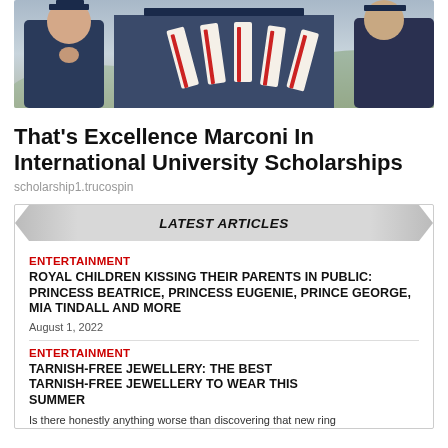[Figure (photo): Graduation photo showing students in caps and gowns holding diplomas tied with red ribbons]
That's Excellence Marconi In International University Scholarships
scholarship1.trucospin
LATEST ARTICLES
ENTERTAINMENT
ROYAL CHILDREN KISSING THEIR PARENTS IN PUBLIC: PRINCESS BEATRICE, PRINCESS EUGENIE, PRINCE GEORGE, MIA TINDALL AND MORE
August 1, 2022
ENTERTAINMENT
TARNISH-FREE JEWELLERY: THE BEST TARNISH-FREE JEWELLERY TO WEAR THIS SUMMER
Is there honestly anything worse than discovering that new ring